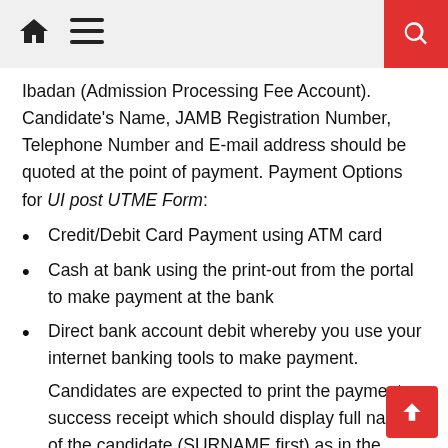Navigation bar with home, menu icons and search button
Ibadan (Admission Processing Fee Account). Candidate's Name, JAMB Registration Number, Telephone Number and E-mail address should be quoted at the point of payment. Payment Options for UI post UTME Form:
Credit/Debit Card Payment using ATM card
Cash at bank using the print-out from the portal to make payment at the bank
Direct bank account debit whereby you use your internet banking tools to make payment.
Candidates are expected to print the payment success receipt which should display full names of the candidate (SURNAME first) as in the UTME result slip preceded by the JAMB Registration number, as the payee and the